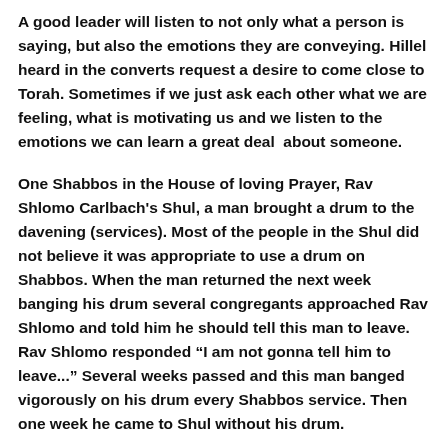A good leader will listen to not only what a person is saying, but also the emotions they are conveying. Hillel heard in the converts request a desire to come close to Torah. Sometimes if we just ask each other what we are feeling, what is motivating us and we listen to the emotions we can learn a great deal  about someone.
One Shabbos in the House of loving Prayer, Rav Shlomo Carlbach's Shul, a man brought a drum to the davening (services). Most of the people in the Shul did not believe it was appropriate to use a drum on Shabbos. When the man returned the next week banging his drum several congregants approached Rav Shlomo and told him he should tell this man to leave. Rav Shlomo responded "I am not gonna tell him to leave..." Several weeks passed and this man banged vigorously on his drum every Shabbos service. Then one week he came to Shul without his drum.
Now Rav Shlomo was curious. He had not said a word to him